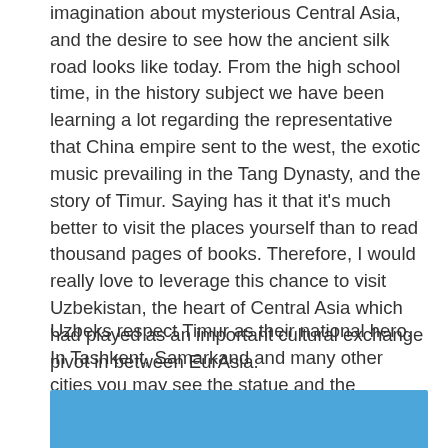imagination about mysterious Central Asia, and the desire to see how the ancient silk road looks like today. From the high school time, in the history subject we have been learning a lot regarding the representative that China empire sent to the west, the exotic music prevailing in the Tang Dynasty, and the story of Timur. Saying has it that it's much better to visit the places yourself than to read thousand pages of books. Therefore, I would really love to leverage this chance to visit Uzbekistan, the heart of Central Asia which had played as an important cultural exchange pivot in between EurAsia.
Uzbeks respect Timur as their national hero. In Tashkent, Samarkand and many other cities you may see the statue and the mausoleum of Timur which demonstrate the respect:
[Figure (photo): Partial view of a photo with blue sky background, image is cropped at bottom of page]